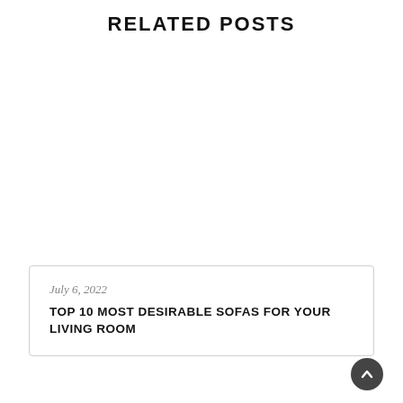RELATED POSTS
July 6, 2022
TOP 10 MOST DESIRABLE SOFAS FOR YOUR LIVING ROOM